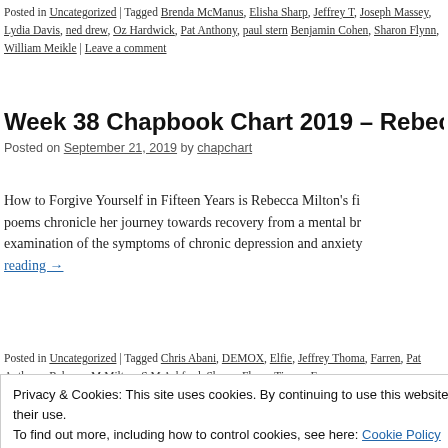Posted in Uncategorized | Tagged Brenda McManus, Elisha Sharp, Jeffrey T, Joseph Massey, Lydia Davis, ned drew, Oz Hardwick, Pat Anthony, paul stern, Benjamin Cohen, Sharon Flynn, William Meikle | Leave a comment
Week 38 Chapbook Chart 2019 – Rebecca...
Posted on September 21, 2019 by chapchart
How to Forgive Yourself in Fifteen Years is Rebecca Milton's fi... poems chronicle her journey towards recovery from a mental br... examination of the symptoms of chronic depression and anxiety... reading →
Posted in Uncategorized | Tagged Chris Abani, DEMOX, Elfie, Jeffrey Thoma, Farren, Pat Anthony, Rebecca M Milton, S M Ashford, Sharon Flynn, Timmy F, Leave a comment
Privacy & Cookies: This site uses cookies. By continuing to use this website, you agree to their use. To find out more, including how to control cookies, see here: Cookie Policy
Close and accept
Advertisements